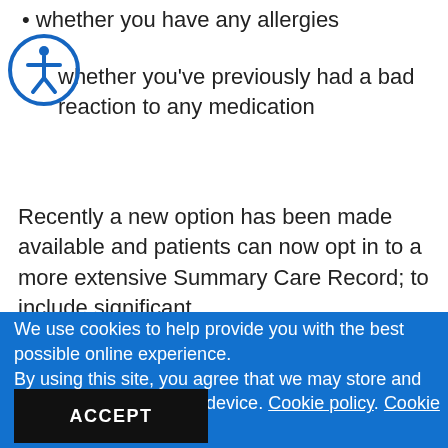[Figure (other): Accessibility icon — circular blue border with a person figure inside]
whether you have any allergies
whether you've previously had a bad reaction to any medication
Recently a new option has been made available and patients can now opt in to a more extensive Summary Care Record; to include significant
We use cookies to help provide you with the best possible online experience.
By using this site, you agree that we may store and access cookies on your device. Cookie policy. Cookie settings.
ACCEPT